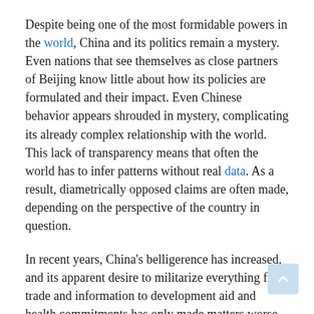Despite being one of the most formidable powers in the world, China and its politics remain a mystery. Even nations that see themselves as close partners of Beijing know little about how its policies are formulated and their impact. Even Chinese behavior appears shrouded in mystery, complicating its already complex relationship with the world. This lack of transparency means that often the world has to infer patterns without real data. As a result, diametrically opposed claims are often made, depending on the perspective of the country in question.
In recent years, China's belligerence has increased, and its apparent desire to militarize everything from trade and information to development aid and health commitments has only made matters worse. From a rising power that couldn't do anything wrong a decade ago, China is now widely seen as the source of much of what's wrong with global governance. Just when Beijing could have emphasized its credentials as a responsible global stakeholder as the world reeled from multiple shocks, the Chinese Communist Party appears